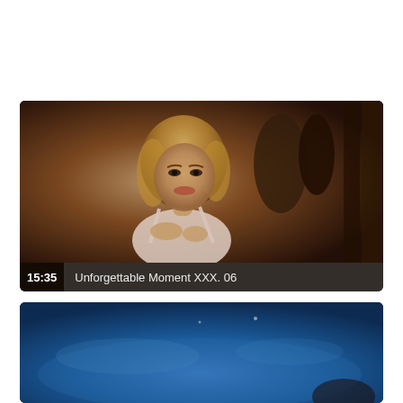[Figure (screenshot): Video thumbnail showing a woman with blonde curly hair in a white dress, in a dimly lit indoor setting with other people in the background. Duration badge shows 15:35. Title reads 'Unforgettable Moment XXX. 06'.]
[Figure (screenshot): Partially visible video thumbnail with a blue background (appears to be water or fabric).]